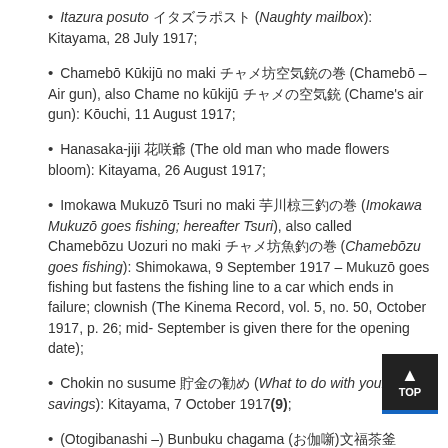Itazura posuto イタズラポスト (Naughty mailbox): Kitayama, 28 July 1917;
Chamebō Kūkijū no maki チャメ坊空気銃の巻 (Chamebō – Air gun), also Chame no kūkijū チャメの空気銃 (Chame's air gun): Kōuchi, 11 August 1917;
Hanasaka-jiji 花咲爺 (The old man who made flowers bloom): Kitayama, 26 August 1917;
Imokawa Mukuzō Tsuri no maki 芋川椋三釣の巻 (Imokawa Mukuzō goes fishing; hereafter Tsuri), also called Chamebōzu Uozuri no maki チャメ坊魚釣の巻 (Chamebōzu goes fishing): Shimokawa, 9 September 1917 – Mukuzō goes fishing but fastens the fishing line to a car which ends in failure; clownish (The Kinema Record, vol. 5, no. 50, October 1917, p. 26; mid- September is given there for the opening date);
Chokin no susume 貯金の勧め (What to do with your postal savings): Kitayama, 7 October 1917(9);
(Otogibanashi –) Bunbuku chagama (お伽噺)文福茶釜 ((Fairy-tale:) Bunbuku kettle): Kitayama, 10 October 1917;
Shitakire suzume舌切雀 (Sparrow with no tongue): Kitayama,